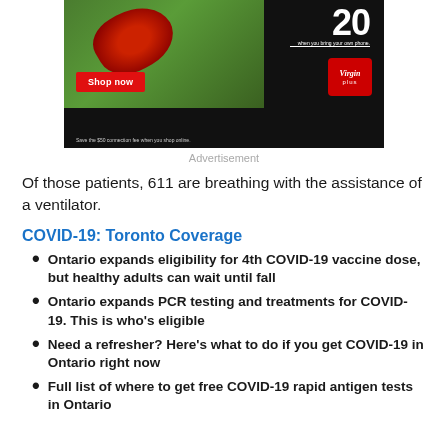[Figure (photo): Virgin Plus mobile phone advertisement on black background with red phone/hand on grass, showing Shop now button and Virgin Plus logo]
Advertisement
Of those patients, 611 are breathing with the assistance of a ventilator.
COVID-19: Toronto Coverage
Ontario expands eligibility for 4th COVID-19 vaccine dose, but healthy adults can wait until fall
Ontario expands PCR testing and treatments for COVID-19. This is who's eligible
Need a refresher? Here's what to do if you get COVID-19 in Ontario right now
Full list of where to get free COVID-19 rapid antigen tests in Ontario